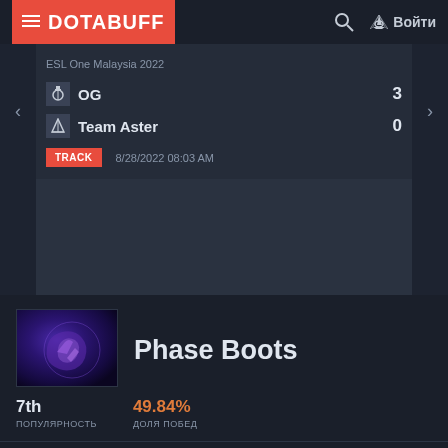≡ DOTABUFF  🔍  Войти
ESL One Malaysia 2022
OG 3
Team Aster 0
TRACK  8/28/2022 08:03 AM
[Figure (screenshot): Empty advertisement or content area below the match result]
Phase Boots
7th
ПОПУЛЯРНОСТЬ
49.84%
ДОЛЯ ПОБЕД
ПОДРОБНЕЕ О ПРЕДМЕТЕ